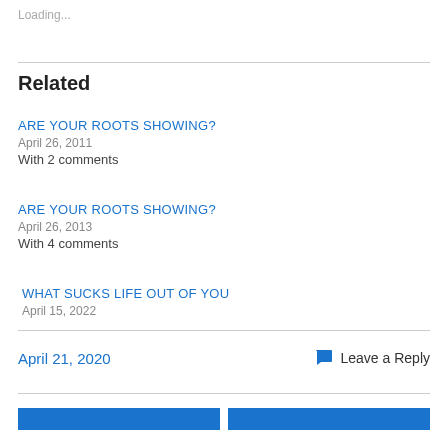Loading...
Related
ARE YOUR ROOTS SHOWING?
April 26, 2011
With 2 comments
ARE YOUR ROOTS SHOWING?
April 26, 2013
With 4 comments
WHAT SUCKS LIFE OUT OF YOU
April 15, 2022
April 21, 2020
Leave a Reply